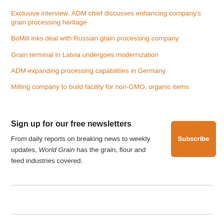Exclusive interview: ADM chief discusses enhancing company's grain processing heritage
BoMill inks deal with Russian grain processing company
Grain terminal in Latvia undergoes modernization
ADM expanding processing capabilities in Germany
Milling company to build facility for non-GMO, organic items
Sign up for our free newsletters
From daily reports on breaking news to weekly updates, World Grain has the grain, flour and feed industries covered.
[Figure (other): Orange Subscribe button]